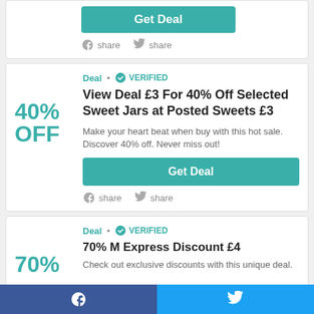[Figure (other): Get Deal button at top of page (partial card)]
f share  share (top share row)
Deal • VERIFIED
View Deal £3 For 40% Off Selected Sweet Jars at Posted Sweets £3
Make your heart beat when buy with this hot sale. Discover 40% off. Never miss out!
[Figure (other): Get Deal button (teal/green)]
f share  share (bottom share row of main card)
Deal • VERIFIED
70% M Express Discount £4
Check out exclusive discounts with this unique deal.
[Figure (other): Bottom social bar with Facebook and Twitter icons]